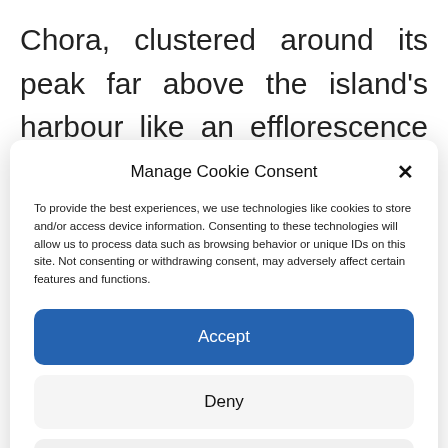Chora, clustered around its peak far above the island's harbour like an efflorescence of white
Manage Cookie Consent
To provide the best experiences, we use technologies like cookies to store and/or access device information. Consenting to these technologies will allow us to process data such as browsing behavior or unique IDs on this site. Not consenting or withdrawing consent, may adversely affect certain features and functions.
Accept
Deny
View preferences
Cookie Policy